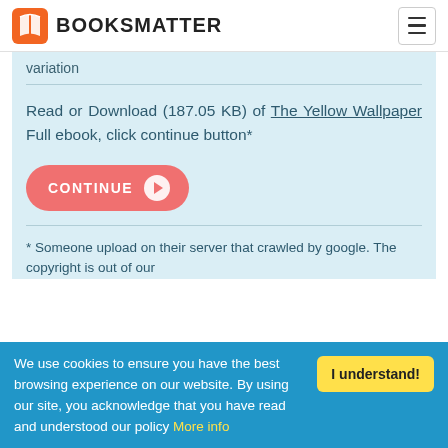BOOKSMATTER
variation
Read or Download (187.05 KB) of The Yellow Wallpaper Full ebook, click continue button*
[Figure (other): CONTINUE button with arrow icon, salmon/coral colored rounded pill button]
* Someone upload on their server that crawled by google. The copyright is out of our
We use cookies to ensure you have the best browsing experience on our website. By using our site, you acknowledge that you have read and understood our policy More info